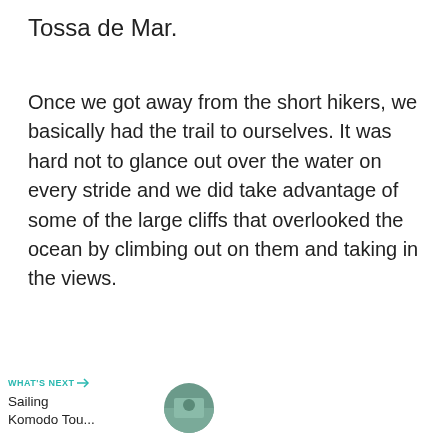Tossa de Mar.
Once we got away from the short hikers, we basically had the trail to ourselves. It was hard not to glance out over the water on every stride and we did take advantage of some of the large cliffs that overlooked the ocean by climbing out on them and taking in the views.
802
WHAT'S NEXT → Sailing Komodo Tou...